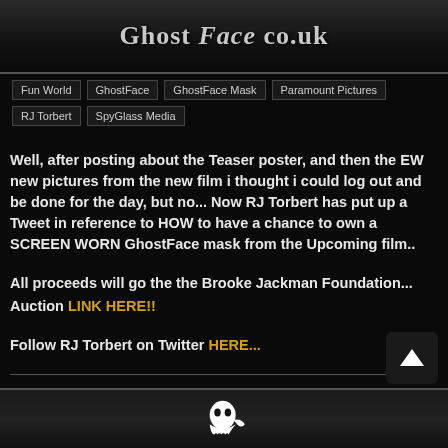Ghost Face co.uk
Fun World | GhostFace | GhostFace Mask | Paramount Pictures
RJ Torbert | SpyGlass Media
Well, after posting about the Teaser poster, and then the EW new pictures from the new film i thought i could log out and be done for the day, but no... Now RJ Torbert has put up a Tweet in reference to HOW to have a chance to own a SCREEN WORN GhostFace mask from the Upcoming film..
All proceeds will go the the Brooke Jackman Foundation... Auction LINK HERE!!
Follow RJ Torbert on Twitter HERE...
GhostFace co.uk logo